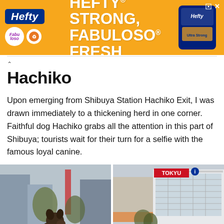[Figure (photo): Hefty advertisement banner: orange background with 'HEFTY STRONG, FABULOSO FRESH' text, Hefty and Fabuloso logos, and Hefty trash bag product image on right]
Hachiko
Upon emerging from Shibuya Station Hachiko Exit, I was drawn immediately to a thickening herd in one corner. Faithful dog Hachiko grabs all the attention in this part of Shibuya; tourists wait for their turn for a selfie with the famous loyal canine.
[Figure (photo): Left photo: Bronze statue of Hachiko dog at Shibuya Station, close-up view with city buildings in background]
[Figure (photo): Right photo: Aerial view of Shibuya scramble crossing with crowds, buses, and TOKYU building visible]